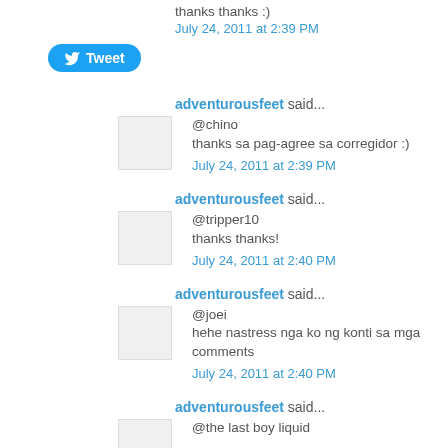thanks thanks :)
July 24, 2011 at 2:39 PM
[Figure (other): Twitter Tweet button]
adventurousfeet said...
@chino
thanks sa pag-agree sa corregidor :)
July 24, 2011 at 2:39 PM
adventurousfeet said...
@tripper10
thanks thanks!
July 24, 2011 at 2:40 PM
adventurousfeet said...
@joei
hehe nastress nga ko ng konti sa mga comments
July 24, 2011 at 2:40 PM
adventurousfeet said...
@the last boy liquid